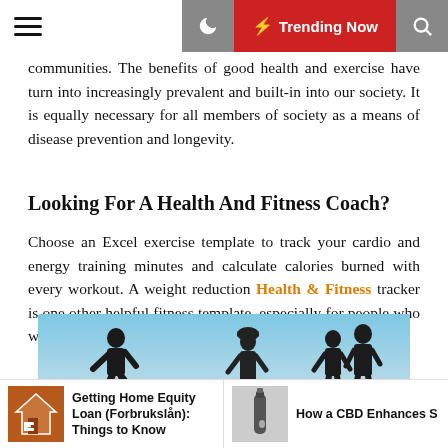☰  ☾  ⚡ Trending Now  🔍
communities. The benefits of good health and exercise have turn into increasingly prevalent and built-in into our society. It is equally necessary for all members of society as a means of disease prevention and longevity.
Looking For A Health And Fitness Coach?
Choose an Excel exercise template to track your cardio and energy training minutes and calculate calories burned with every workout. A weight reduction Health & Fitness tracker is one other helpful fitness template, especially for people who want a little more help.
[Figure (photo): Silhouette of people exercising/running outdoors against a blue sky background. Left: a runner in motion. Middle and right: two people standing, one appears to be coaching the other.]
Getting Home Equity Loan (Forbrukslån): Things to Know
How a CBD Enhances S